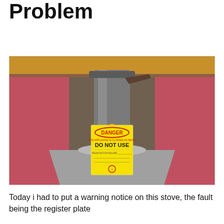Problem
[Figure (photo): Photo showing the underside of a wood-top stove/fireplace insert with a metal flue pipe going into a collar. A yellow DANGER tag reading 'DO NOT USE' is attached to the pipe. The walls/surround are covered in red/pink material.]
Today i had to put a warning notice on this stove, the fault being the register plate